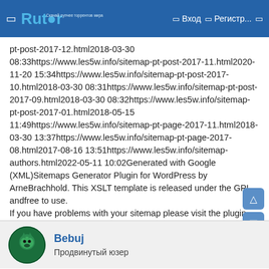Rutor — Вход — Регистр...
pt-post-2017-12.html2018-03-30 08:33https://www.les5w.info/sitemap-pt-post-2017-11.html2020-11-20 15:34https://www.les5w.info/sitemap-pt-post-2017-10.html2018-03-30 08:31https://www.les5w.info/sitemap-pt-post-2017-09.html2018-03-30 08:32https://www.les5w.info/sitemap-pt-post-2017-01.html2018-05-15 11:49https://www.les5w.info/sitemap-pt-page-2017-11.html2018-03-30 13:37https://www.les5w.info/sitemap-pt-page-2017-08.html2017-08-16 13:51https://www.les5w.info/sitemap-authors.html2022-05-11 10:02Generated with Google (XML)Sitemaps Generator Plugin for WordPress by ArneBrachhold. This XSLT template is released under the GPL andfree to use.
If you have problems with your sitemap please visit the plugin FAQ or the supportforum.
Bebuj
Продвинутый юзер